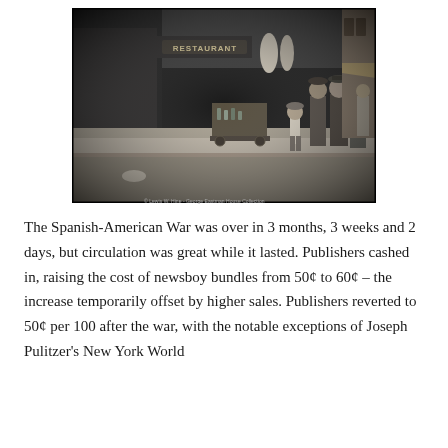[Figure (photo): Black and white historical photograph showing a street scene with a young newsboy, adults in early 20th century dress, a restaurant sign visible in the background, and a city street with storefronts. Photo credit: Lewis W. Hine - George Eastman House Collection.]
The Spanish-American War was over in 3 months, 3 weeks and 2 days, but circulation was great while it lasted. Publishers cashed in, raising the cost of newsboy bundles from 50¢ to 60¢ – the increase temporarily offset by higher sales. Publishers reverted to 50¢ per 100 after the war, with the notable exceptions of Joseph Pulitzer's New York World